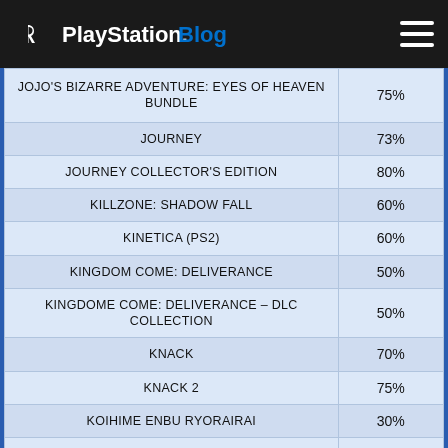PlayStation.Blog
| Game | Discount |
| --- | --- |
| JOJO'S BIZARRE ADVENTURE: EYES OF HEAVEN BUNDLE | 75% |
| JOURNEY | 73% |
| JOURNEY COLLECTOR'S EDITION | 80% |
| KILLZONE: SHADOW FALL | 60% |
| KINETICA (PS2) | 60% |
| KINGDOM COME: DELIVERANCE | 50% |
| KINGDOME COME: DELIVERANCE – DLC COLLECTION | 50% |
| KNACK | 70% |
| KNACK 2 | 75% |
| KOIHIME ENBU RYORAIRAI | 30% |
| KONA (VR) | 80% |
| KONA VR BUNDLE | 80% |
| LAYERS OF FEAR | 65% |
| LAYERS OF FEAR + OBSERVER_ BUNDLE | 75% |
| LAYERS OF FEAR: MASTERPIECE EDITION | 65% |